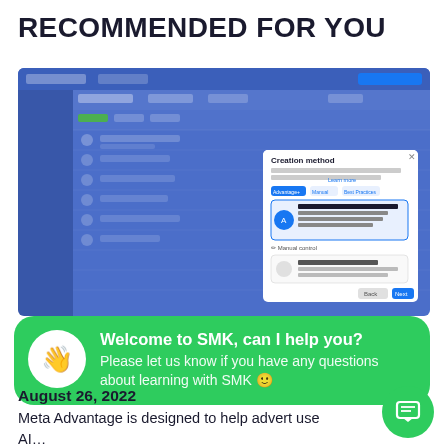RECOMMENDED FOR YOU
[Figure (screenshot): Screenshot of a Facebook Ads Manager interface showing a 'Creation method' modal dialog with 'Advantage+ Shopping Campaign' and 'Manual sales campaign' options, overlaid on the Campaigns dashboard in blue.]
Welcome to SMK, can I help you?
Please let us know if you have any questions about learning with SMK 🙂
August 26, 2022
Meta Advantage is designed to help advert use AI...